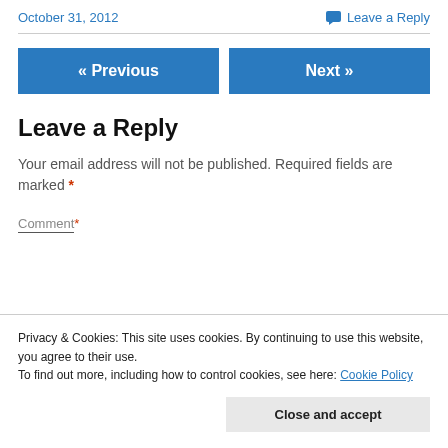October 31, 2012   Leave a Reply
[Figure (other): Navigation buttons: « Previous and Next »]
Leave a Reply
Your email address will not be published. Required fields are marked *
Privacy & Cookies: This site uses cookies. By continuing to use this website, you agree to their use. To find out more, including how to control cookies, see here: Cookie Policy
Close and accept